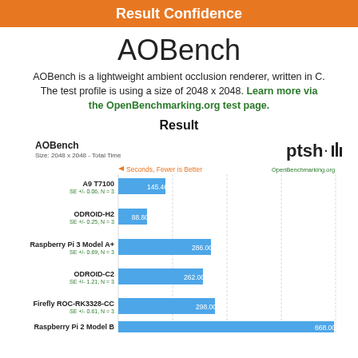Result Confidence
AOBench
AOBench is a lightweight ambient occlusion renderer, written in C. The test profile is using a size of 2048 x 2048. Learn more via the OpenBenchmarking.org test page.
Result
[Figure (bar-chart): AOBench - Size: 2048 x 2048 - Total Time]